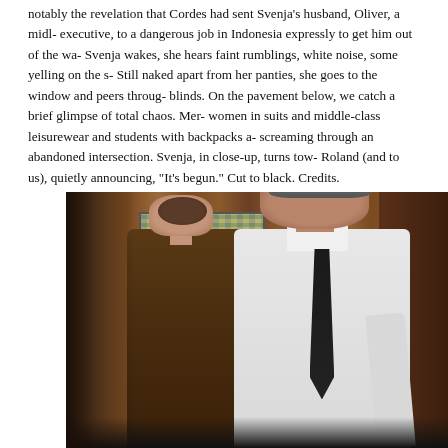notably the revelation that Cordes had sent Svenja's husband, Oliver, a mid- executive, to a dangerous job in Indonesia expressly to get him out of the wa- Svenja wakes, she hears faint rumblings, white noise, some yelling on the s- Still naked apart from her panties, she goes to the window and peers throug- blinds. On the pavement below, we catch a brief glimpse of total chaos. Men women in suits and middle-class leisurewear and students with backpacks a- screaming through an abandoned intersection. Svenja, in close-up, turns tow- Roland (and to us), quietly announcing, "It's begun." Cut to black. Credits.
[Figure (photo): A photograph showing two people facing each other in an indoor setting with wood-paneled walls. On the left is a woman with her hair in a bun, wearing a brown/olive jacket. On the right is a taller man wearing a white dress shirt and dark tie. They appear to be in close conversation. There is artwork or a poster visible on the wall behind them.]